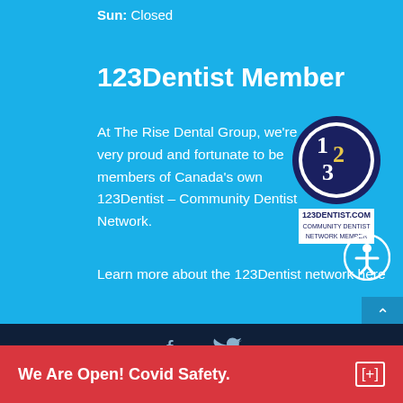Sun:  Closed
123Dentist Member
At The Rise Dental Group, we're very proud and fortunate to be members of Canada's own 123Dentist – Community Dentist Network.
[Figure (logo): 123Dentist.com Community Dentist Network Member circular logo with blue and white design]
[Figure (illustration): Accessibility icon - person in circle]
Learn more about the 123Dentist network here
[Figure (illustration): Facebook and Twitter social media icons in white]
We Are Open! Covid Safety.